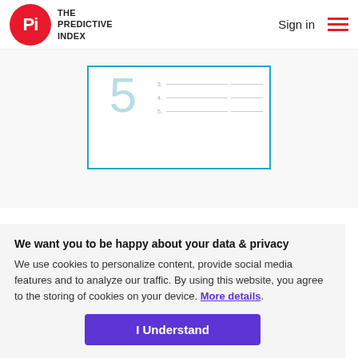THE PREDICTIVE INDEX | Sign in
[Figure (other): Template document preview with a large light blue number 5 and numbered lines with boxes on the right side, enclosed in a teal border]
Click the image to download the template.
We want you to be happy about your data & privacy
We use cookies to personalize content, provide social media features and to analyze our traffic. By using this website, you agree to the storing of cookies on your device. More details.
I Understand